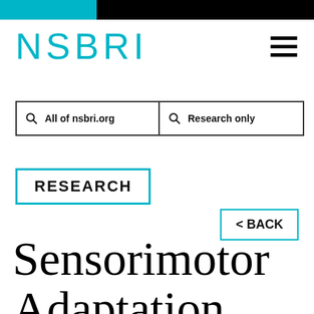NSBRI
All of nsbri.org | Research only
RESEARCH
< BACK
Sensorimotor Adaptation Team